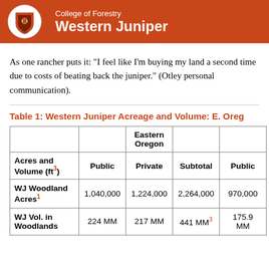College of Forestry — Western Juniper
As one rancher puts it: "I feel like I'm buying my land a second time due to costs of beating back the juniper." (Otley personal communication).
Table 1: Western Juniper Acreage and Volume: E. Oregon...
| Acres and Volume (ft³) | Public | Eastern Oregon Private | Subtotal | Public |
| --- | --- | --- | --- | --- |
| WJ Woodland Acres¹ | 1,040,000 | 1,224,000 | 2,264,000 | 970,000 |
| WJ Vol. in Woodlands | 224 MM | 217 MM | 441 MM³ | 175.9 MM |